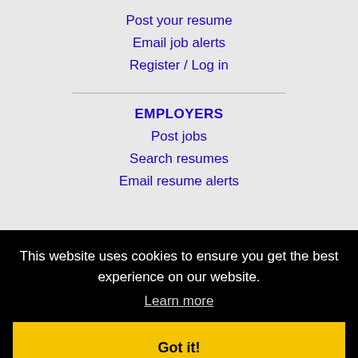Post your resume
Email job alerts
Register / Log in
EMPLOYERS
Post jobs
Search resumes
Email resume alerts
This website uses cookies to ensure you get the best experience on our website.
Learn more
Got it!